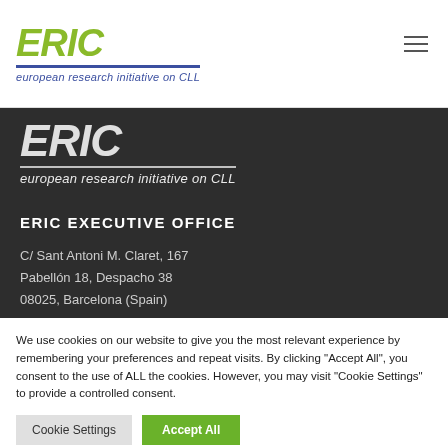[Figure (logo): ERIC logo - European Research Initiative on CLL, top white header version with green ERIC letters and blue underline and subtitle]
[Figure (logo): ERIC logo - European Research Initiative on CLL, dark background version with white letters and white underline and subtitle]
ERIC EXECUTIVE OFFICE
C/ Sant Antoni M. Claret, 167
Pabellón 18, Despacho 38
08025, Barcelona (Spain)
We use cookies on our website to give you the most relevant experience by remembering your preferences and repeat visits. By clicking "Accept All", you consent to the use of ALL the cookies. However, you may visit "Cookie Settings" to provide a controlled consent.
Cookie Settings   Accept All